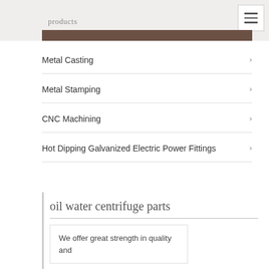products
Metal Casting
Metal Stamping
CNC Machining
Hot Dipping Galvanized Electric Power Fittings
oil water centrifuge parts
We offer great strength in quality and